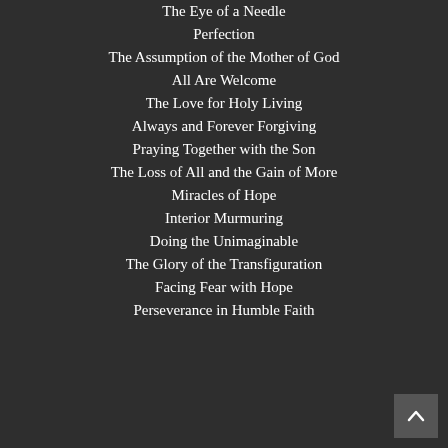The Eye of a Needle
Perfection
The Assumption of the Mother of God
All Are Welcome
The Love for Holy Living
Always and Forever Forgiving
Praying Together with the Son
The Loss of All and the Gain of More
Miracles of Hope
Interior Murmuring
Doing the Unimaginable
The Glory of the Transfiguration
Facing Fear with Hope
Perseverance in Humble Faith